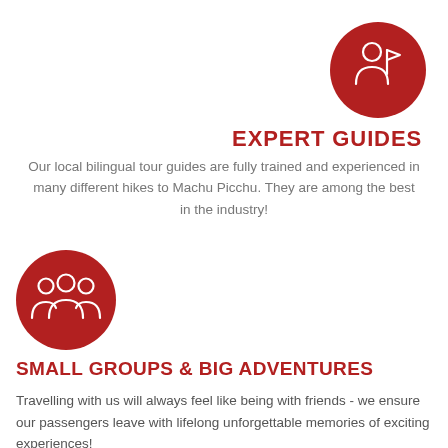[Figure (illustration): Dark red circle with white outline icon of a tour guide holding a flag]
EXPERT GUIDES
Our local bilingual tour guides are fully trained and experienced in many different hikes to Machu Picchu. They are among the best in the industry!
[Figure (illustration): Dark red circle with white outline icon of a group of people]
SMALL GROUPS & BIG ADVENTURES
Travelling with us will always feel like being with friends - we ensure our passengers leave with lifelong unforgettable memories of exciting experiences!